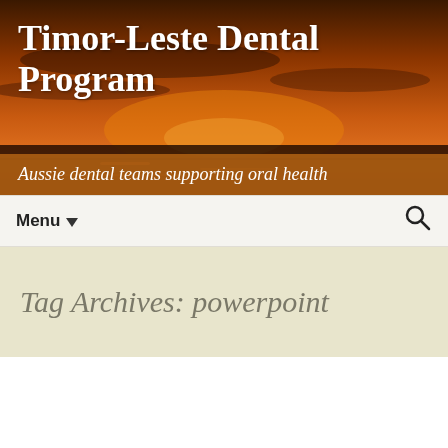[Figure (photo): Sunset/dusk landscape banner with orange and dark sky tones, horizon visible]
Timor-Leste Dental Program
Aussie dental teams supporting oral health
Menu
Tag Archives: powerpoint